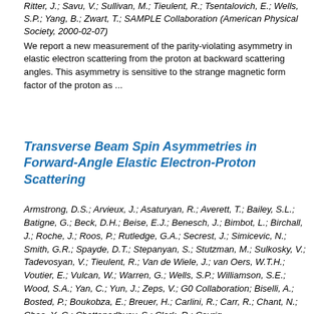Ritter, J.; Savu, V.; Sullivan, M.; Tieulent, R.; Tsentalovich, E.; Wells, S.P.; Yang, B.; Zwart, T.; SAMPLE Collaboration (American Physical Society, 2000-02-07)
We report a new measurement of the parity-violating asymmetry in elastic electron scattering from the proton at backward scattering angles. This asymmetry is sensitive to the strange magnetic form factor of the proton as ...
Transverse Beam Spin Asymmetries in Forward-Angle Elastic Electron-Proton Scattering
Armstrong, D.S.; Arvieux, J.; Asaturyan, R.; Averett, T.; Bailey, S.L.; Batigne, G.; Beck, D.H.; Beise, E.J.; Benesch, J.; Bimbot, L.; Birchall, J.; Roche, J.; Roos, P.; Rutledge, G.A.; Secrest, J.; Simicevic, N.; Smith, G.R.; Spayde, D.T.; Stepanyan, S.; Stutzman, M.; Sulkosky, V.; Tadevosyan, V.; Tieulent, R.; Van de Wiele, J.; van Oers, W.T.H.; Voutier, E.; Vulcan, W.; Warren, G.; Wells, S.P.; Williamson, S.E.; Wood, S.A.; Yan, C.; Yun, J.; Zeps, V.; G0 Collaboration; Biselli, A.; Bosted, P.; Boukobza, E.; Breuer, H.; Carlini, R.; Carr, R.; Chant, N.; Chao, Y.-C.; Chattopadhyay, S.; Clark, R.; Covrig,